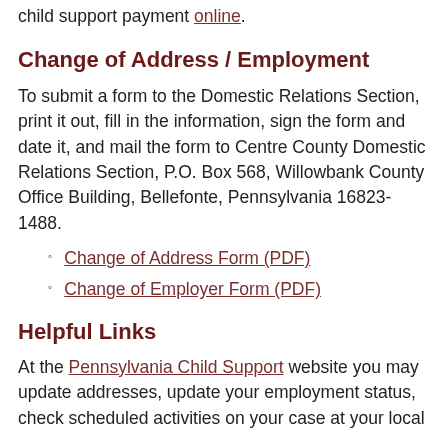child support payment online.
Change of Address / Employment
To submit a form to the Domestic Relations Section, print it out, fill in the information, sign the form and date it, and mail the form to Centre County Domestic Relations Section, P.O. Box 568, Willowbank County Office Building, Bellefonte, Pennsylvania 16823-1488.
Change of Address Form (PDF)
Change of Employer Form (PDF)
Helpful Links
At the Pennsylvania Child Support website you may update addresses, update your employment status, check scheduled activities on your case at your local